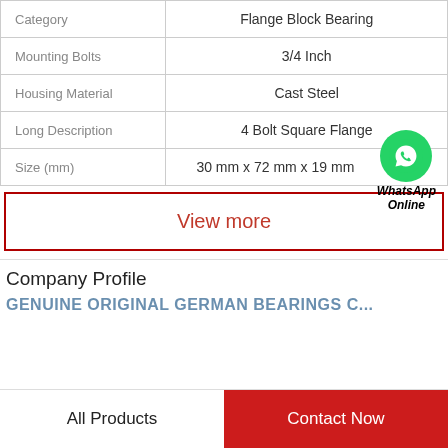| Category | Flange Block Bearing |
| --- | --- |
| Mounting Bolts | 3/4 Inch |
| Housing Material | Cast Steel |
| Long Description | 4 Bolt Square Flange |
| Size (mm) | 30 mm x 72 mm x 19 mm |
[Figure (logo): WhatsApp green phone icon with WhatsApp Online label]
View more
Company Profile
GENUINE ORIGINAL GERMAN BEARINGS C...
All Products
Contact Now